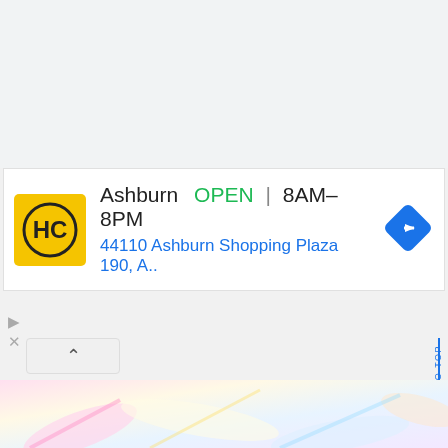[Figure (screenshot): HC (Hunan Chicken) business listing card showing Ashburn location: OPEN, 8AM-8PM, address 44110 Ashburn Shopping Plaza 190, A.. with navigation arrow icon]
[Figure (other): Ad controls: triangle play icon and X close icon]
Takamichi acknowledges that he might have been wrong about working alone. He asks the others if they can fight together and wonders if he can join the roll call.
[Figure (illustration): Colorful anime-style illustration at the bottom of the page, partially visible]